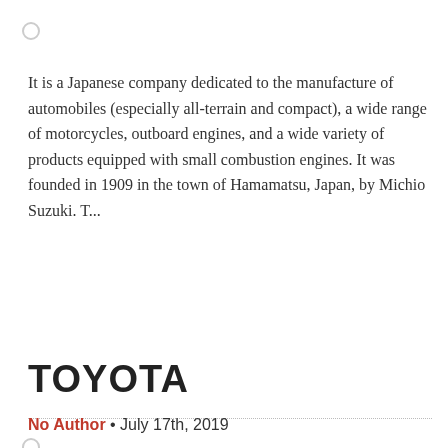It is a Japanese company dedicated to the manufacture of automobiles (especially all-terrain and compact), a wide range of motorcycles, outboard engines, and a wide variety of products equipped with small combustion engines. It was founded in 1909 in the town of Hamamatsu, Japan, by Michio Suzuki. T...
TOYOTA
No Author • July 17th, 2019
Better known as Toyota, it is a Japanese automobile manufacturing company. Its headquarters are located in Toyota, Aichi and Bunky?, Tokyo. Although, due to its multinational nature, it has factories and